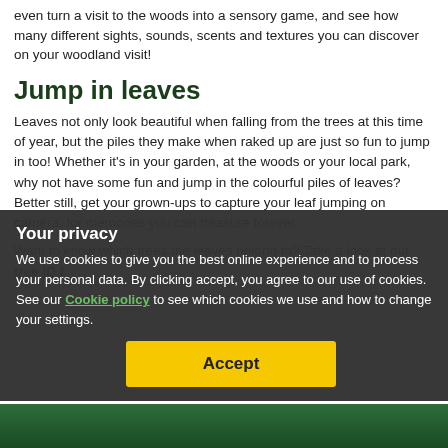even turn a visit to the woods into a sensory game, and see how many different sights, sounds, scents and textures you can discover on your woodland visit!
Jump in leaves
Leaves not only look beautiful when falling from the trees at this time of year, but the piles they make when raked up are just so fun to jump in too! Whether it's in your garden, at the woods or your local park, why not have some fun and jump in the colourful piles of leaves? Better still, get your grown-ups to capture your leaf jumping on camera, for memories you can treasure forever.
Want to know which trees the leaves belong to? Take a look at our tree ID f…
Your privacy
We use cookies to give you the best online experience and to process your personal data. By clicking accept, you agree to our use of cookies. See our Cookie policy to see which cookies we use and how to change your settings.
[Figure (photo): Bottom green strip showing a child in green clothing, partially visible]